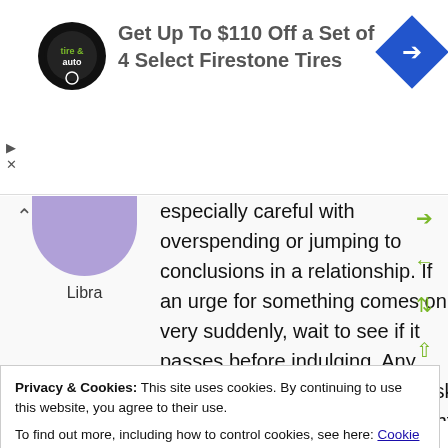[Figure (other): Advertisement banner: tire & auto logo, text 'Get Up To $110 Off a Set of 4 Select Firestone Tires', blue diamond arrow icon]
especially careful with overspending or jumping to conclusions in a relationship. If an urge for something comes on very suddenly, wait to see if it passes before indulging. Any tendency to gamble or take a risk can be stimulated now. Foresight may be a little lacking righ
[Figure (illustration): Libra zodiac symbol - purple bowl/scale shape with label 'Libra']
Privacy & Cookies: This site uses cookies. By continuing to use this website, you agree to their use.
To find out more, including how to control cookies, see here: Cookie Policy
frustrated feelings can challenge you to make